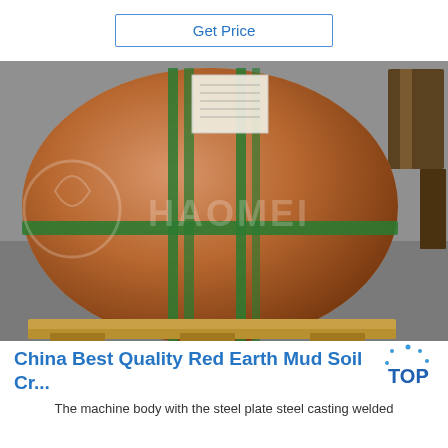Get Price
[Figure (photo): A large cylindrical roll of material wrapped in brown paper/cardboard packaging, secured with green straps both vertically and horizontally. The roll sits on a wooden pallet. A HAOMEI watermark is visible on the image. A small wooden box or pallet is visible in the upper right corner.]
China Best Quality Red Earth Mud Soil Cr...
The machine body with the steel plate steel casting welded